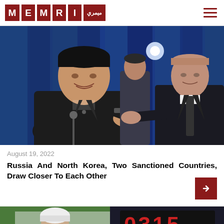MEMRI (logo) | Navigation menu
[Figure (photo): Two men in dark suits shaking hands on a stage with a blue curtain background. Left person is Kim Jong-un, right person is Vladimir Putin. A third person is visible in the background.]
August 19, 2022
Russia And North Korea, Two Sanctioned Countries, Draw Closer To Each Other
[Figure (photo): Partial view of a second article image showing a person in white head covering and a scoreboard or sign with numbers 0315 visible on the right.]